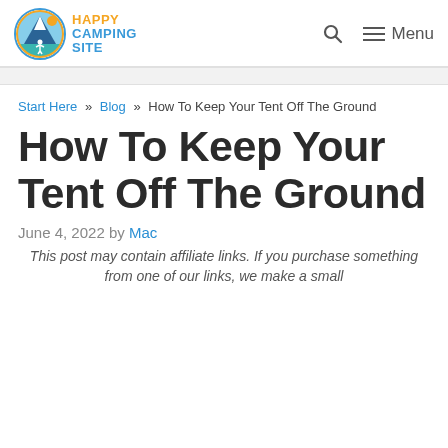Happy Camping Site — Search | Menu
Start Here » Blog » How To Keep Your Tent Off The Ground
How To Keep Your Tent Off The Ground
June 4, 2022 by Mac
This post may contain affiliate links. If you purchase something from one of our links, we make a small